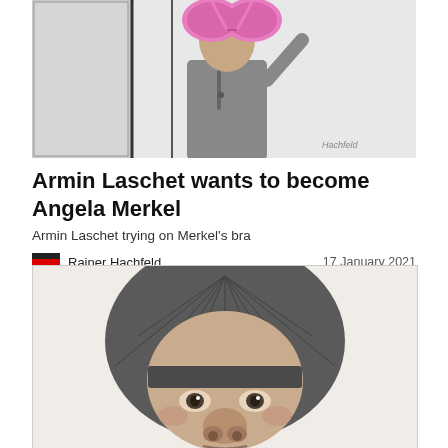[Figure (illustration): Cartoon illustration of a figure in a gray suit trying on a large pink bra in front of a mirror. Artist signature reads 'Hachfeld' in lower right.]
Armin Laschet wants to become Angela Merkel
Armin Laschet trying on Merkel's bra
Rainer Hachfeld   17 January 2021
[Figure (illustration): Detailed pencil caricature drawing of a face with a rounded bowl-cut hairstyle and exaggerated facial features, depicting Angela Merkel.]